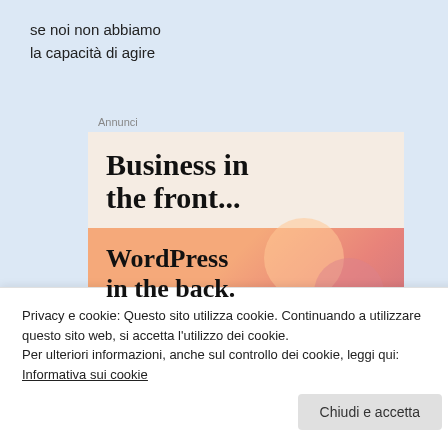se noi non abbiamo
la capacità di agire
Annunci
[Figure (illustration): WordPress advertisement banner. Top section with beige/cream background reads 'Business in the front...' in bold serif font. Bottom section with orange-pink gradient background shows colorful circles and reads 'WordPress in the back.' in bold serif font.]
Privacy e cookie: Questo sito utilizza cookie. Continuando a utilizzare questo sito web, si accetta l'utilizzo dei cookie.
Per ulteriori informazioni, anche sul controllo dei cookie, leggi qui:
Informativa sui cookie
Chiudi e accetta